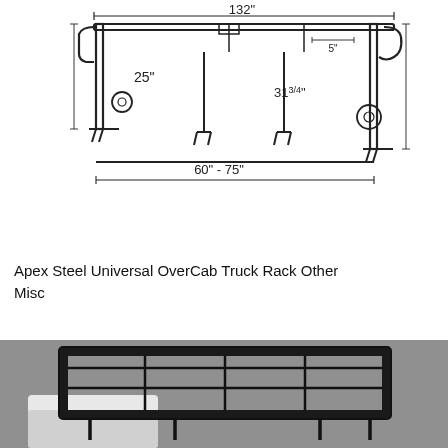[Figure (engineering-diagram): Technical schematic of Apex Steel Universal OverCab Truck Rack showing dimensions: 132 inch total width, 25 inch height on left side, 31 3/4 inch height on right side, 5 inch depth indicator near top right, and 60-75 inch adjustable width range at the bottom. The diagram shows the side profile of a truck rack with horizontal bars, vertical legs, and mounting brackets.]
Apex Steel Universal OverCab Truck Rack Other Misc
[Figure (photo): Photograph of a black steel truck rack (Apex Steel Universal OverCab Truck Rack) mounted on top of a white truck cab, shot against a gray background. The rack has a rectangular grid frame with perimeter rails and cross-members.]